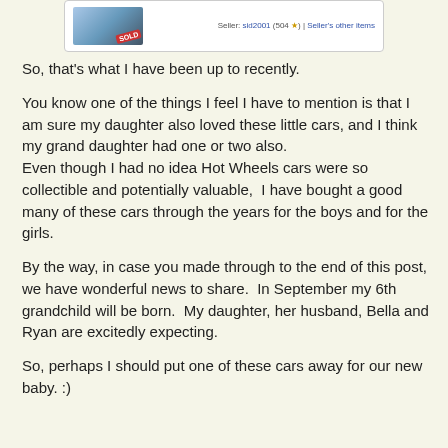[Figure (screenshot): Screenshot of an eBay-style listing showing a toy car image with a SOLD badge and seller info: 'Seller: sid2001 (504 ★) | Seller's other items']
So, that's what I have been up to recently.
You know one of the things I feel I have to mention is that I am sure my daughter also loved these little cars, and I think my grand daughter had one or two also.
Even though I had no idea Hot Wheels cars were so collectible and potentially valuable,  I have bought a good many of these cars through the years for the boys and for the girls.
By the way, in case you made through to the end of this post, we have wonderful news to share.  In September my 6th grandchild will be born.  My daughter, her husband, Bella and Ryan are excitedly expecting.
So, perhaps I should put one of these cars away for our new baby. :)